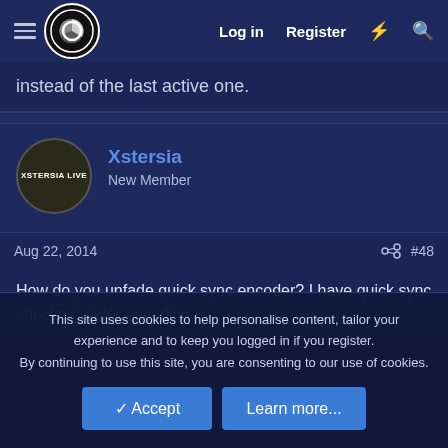Log in  Register
instead of the last active one.
Xstersia
New Member
Aug 22, 2014  #48
How do you unfade quick sync encoder? I have quick sync checked under encoding
This site uses cookies to help personalise content, tailor your experience and to keep you logged in if you register.
By continuing to use this site, you are consenting to our use of cookies.